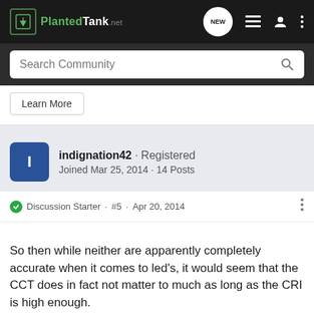PlantedTank · NEW
Search Community
Learn More
indignation42 · Registered
Joined Mar 25, 2014 · 14 Posts
Discussion Starter · #5 · Apr 20, 2014
So then while neither are apparently completely accurate when it comes to led's, it would seem that the CCT does in fact not matter to much as long as the CRI is high enough.
[Figure (screenshot): Advertisement banner showing a man with glasses and beard with text 'The face when you realize...']